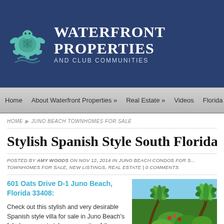[Figure (logo): Waterfront Properties and Club Communities logo with teal turtle graphic and white text on navy background]
Home   About Waterfront Properties »   Real Estate »   Videos   Florida
HOME ▶ JUNO BEACH TOWNHOMES FOR SALE
Stylish Spanish Style South Florida Villa Fo
POSTED BY AMY WOODS ON NOV 12, 2014 IN JUNO BEACH CONDOS FOR S... TOWNHOMES FOR SALE, NEW LISTINGS, REAL ESTATE | 0 COMMENTS
601 Oats Drive D-1 Juno Beach, Florida 33408:
Check out this stylish and very desirable Spanish style villa for sale in Juno Beach's fabulous resort style community of the...
[Figure (photo): Exterior photo of Spanish style villa with palm trees and tropical landscaping]